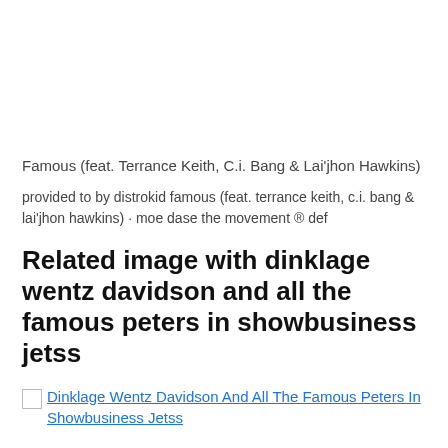Famous (feat. Terrance Keith, C.i. Bang & Lai'jhon Hawkins)
provided to by distrokid famous (feat. terrance keith, c.i. bang & lai'jhon hawkins) · moe dase the movement ℗ def
Related image with dinklage wentz davidson and all the famous peters in showbusiness jetss
[Figure (illustration): Broken image placeholder with link: Dinklage Wentz Davidson And All The Famous Peters In Showbusiness Jetss]